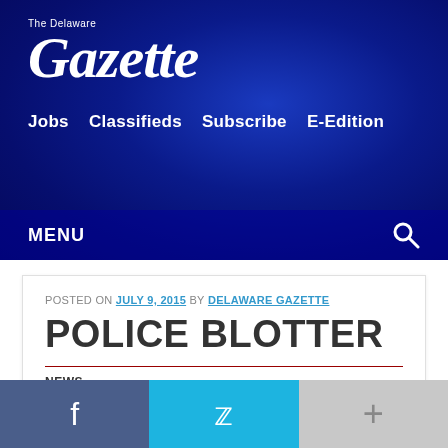[Figure (logo): The Delaware Gazette newspaper logo in white serif text on blue gradient background]
Jobs  Classifieds  Subscribe  E-Edition
MENU
POSTED ON JULY 9, 2015 BY DELAWARE GAZETTE
POLICE BLOTTER
NEWS